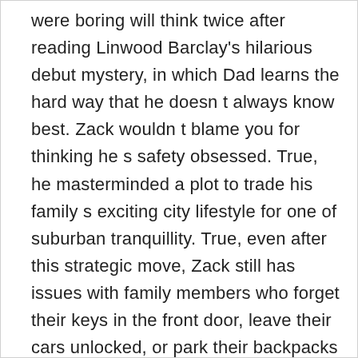were boring will think twice after reading Linwood Barclay’s hilarious debut mystery, in which Dad learns the hard way that he doesn t always know best. Zack wouldn t blame you for thinking he s safety obsessed. True, he masterminded a plot to trade his family s exciting city lifestyle for one of suburban tranquillity. True, even after this strategic move, Zack still has issues with family members who forget their keys in the front door, leave their cars unlocked, or park their backpacks at the top of the